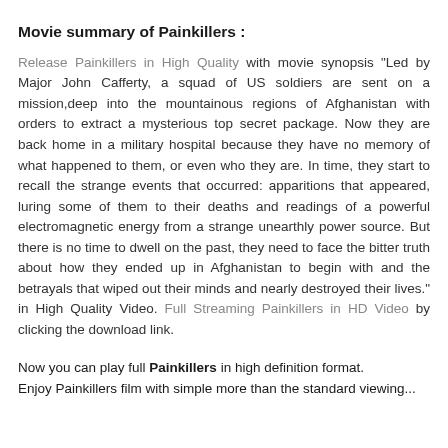Movie summary of Painkillers :
Release Painkillers in High Quality with movie synopsis "Led by Major John Cafferty, a squad of US soldiers are sent on a mission,deep into the mountainous regions of Afghanistan with orders to extract a mysterious top secret package. Now they are back home in a military hospital because they have no memory of what happened to them, or even who they are. In time, they start to recall the strange events that occurred: apparitions that appeared, luring some of them to their deaths and readings of a powerful electromagnetic energy from a strange unearthly power source. But there is no time to dwell on the past, they need to face the bitter truth about how they ended up in Afghanistan to begin with and the betrayals that wiped out their minds and nearly destroyed their lives." in High Quality Video. Full Streaming Painkillers in HD Video by clicking the download link.
Now you can play full Painkillers in high definition format. Enjoy Painkillers film with simple more than the standard viewing...